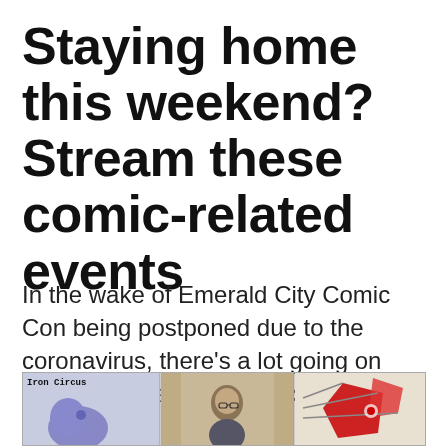Staying home this weekend? Stream these comic-related events
In the wake of Emerald City Comic Con being postponed due to the coronavirus, there’s a lot going on online this weekend you can take part in.
[Figure (illustration): Three-panel comic/promotional image. Left panel shows 'Iron Circus' text with a blue cartoon character. Middle panel shows a person with glasses. Right panel shows a red cartoon figure with geometric shapes.]